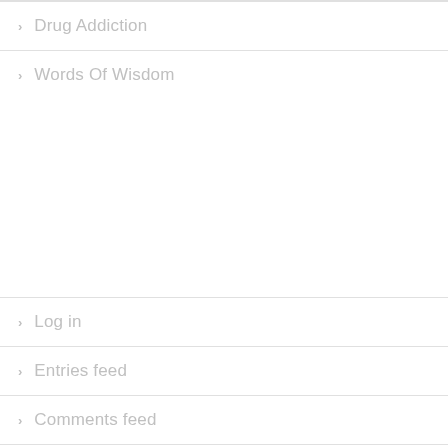Drug Addiction
Words Of Wisdom
Log in
Entries feed
Comments feed